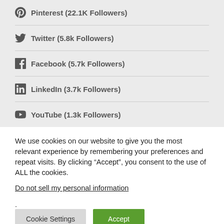Pinterest (22.1K Followers)
Twitter (5.8k Followers)
Facebook (5.7k Followers)
LinkedIn (3.7k Followers)
YouTube (1.3k Followers)
We use cookies on our website to give you the most relevant experience by remembering your preferences and repeat visits. By clicking “Accept”, you consent to the use of ALL the cookies.
Do not sell my personal information.